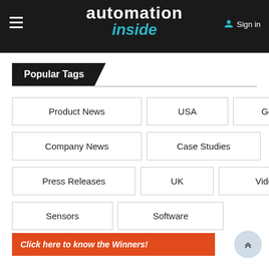automation inside
Popular Tags
Product News
USA
Germany
Company News
Case Studies
Press Releases
UK
Videos
Sensors
Software
Click here to know the Winners!